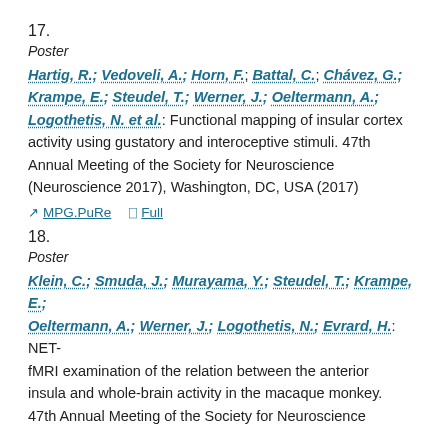17.
Poster
Hartig, R.; Vedoveli, A.; Horn, F.; Battal, C.; Chávez, G.; Krampe, E.; Steudel, T.; Werner, J.; Oeltermann, A.; Logothetis, N. et al.: Functional mapping of insular cortex activity using gustatory and interoceptive stimuli. 47th Annual Meeting of the Society for Neuroscience (Neuroscience 2017), Washington, DC, USA (2017)
MPG.PuRe   Full
18.
Poster
Klein, C.; Smuda, J.; Murayama, Y.; Steudel, T.; Krampe, E.; Oeltermann, A.; Werner, J.; Logothetis, N.; Evrard, H.: NET-fMRI examination of the relation between the anterior insula and whole-brain activity in the macaque monkey. 47th Annual Meeting of the Society for Neuroscience